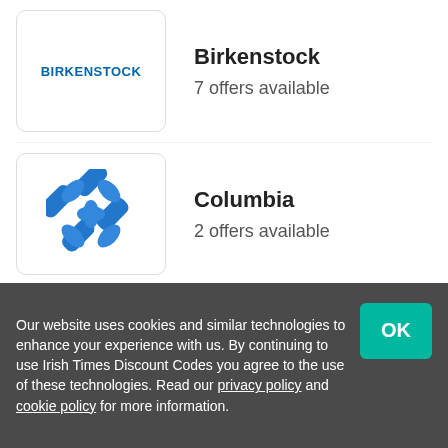[Figure (logo): Birkenstock logo with text]
Birkenstock
7 offers available
[Figure (logo): Columbia logo with blue diamond shapes]
Columbia
2 offers available
[Figure (logo): ASOS logo in black text]
ASOS
5 offers available
[Figure (logo): In The Style logo with text and dot graphic]
In The Style
20 offers available
[Figure (logo): Nike logo partially visible, dark background]
Nike
Our website uses cookies and similar technologies to enhance your experience with us. By continuing to use Irish Times Discount Codes you agree to the use of these technologies. Read our privacy policy and cookie policy for more information.